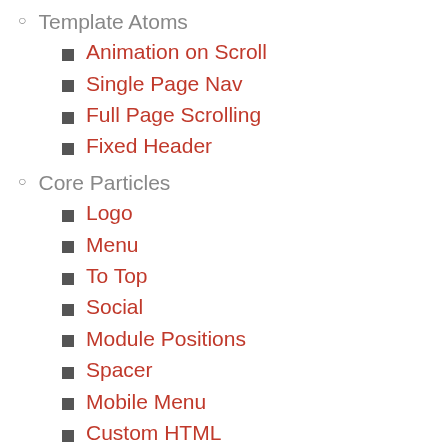Template Atoms
Animation on Scroll
Single Page Nav
Full Page Scrolling
Fixed Header
Core Particles
Logo
Menu
To Top
Social
Module Positions
Spacer
Mobile Menu
Custom HTML
Module Instance
Page Content
System Messages